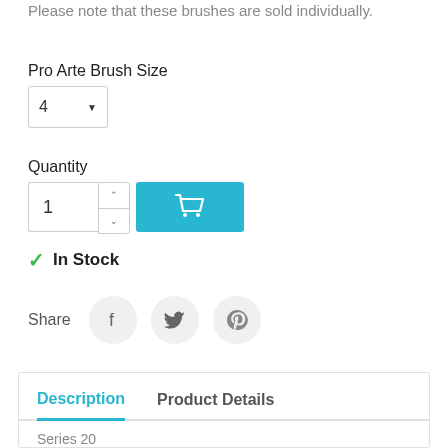Please note that these brushes are sold individually.
Pro Arte Brush Size
[Figure (screenshot): Dropdown selector showing value '4' with a down arrow, bordered box]
Quantity
[Figure (screenshot): Quantity input field showing '1' with up/down spinners and a teal add-to-cart button with shopping cart icon]
✓ In Stock
Share
[Figure (screenshot): Social share icons: Facebook, Twitter, Pinterest in circular grey buttons]
Description
Product Details
Series 20